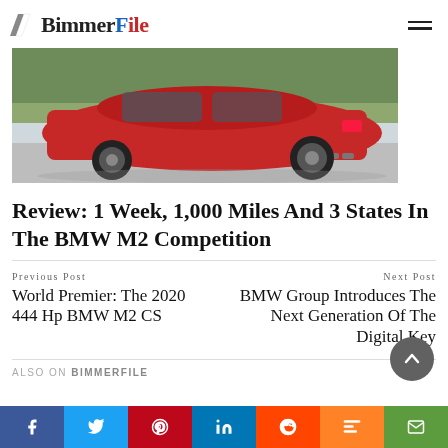BimmerFile
[Figure (photo): Red BMW M2 Competition car photographed from the rear quarter, parked on a road with green foliage in the background.]
Review: 1 Week, 1,000 Miles And 3 States In The BMW M2 Competition
Previous Post
World Premier: The 2020 444 Hp BMW M2 CS
Next Post
BMW Group Introduces The Next Generation Of The Digital Key
ALSO ON BIMMERFILE